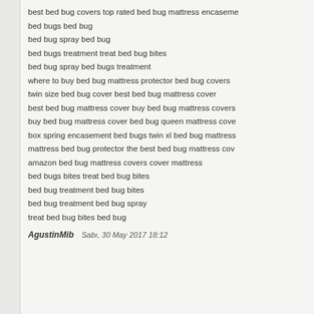best bed bug covers top rated bed bug mattress encaseme
bed bugs bed bug
bed bug spray bed bug
bed bugs treatment treat bed bug bites
bed bug spray bed bugs treatment
where to buy bed bug mattress protector bed bug covers
twin size bed bug cover best bed bug mattress cover
best bed bug mattress cover buy bed bug mattress covers
buy bed bug mattress cover bed bug queen mattress cove
box spring encasement bed bugs twin xl bed bug mattress
mattress bed bug protector the best bed bug mattress cov
amazon bed bug mattress covers cover mattress
bed bugs bites treat bed bug bites
bed bug treatment bed bug bites
bed bug treatment bed bug spray
treat bed bug bites bed bug
AgustinMib   Sabı, 30 May 2017 18:12